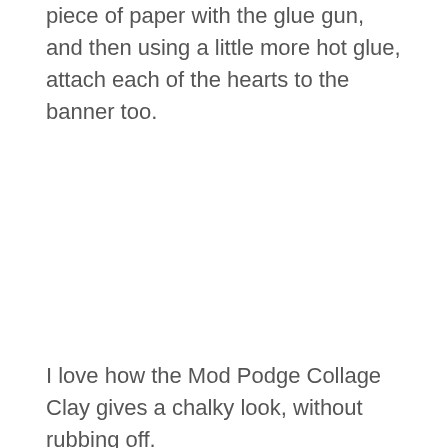piece of paper with the glue gun, and then using a little more hot glue, attach each of the hearts to the banner too.
I love how the Mod Podge Collage Clay gives a chalky look, without rubbing off.